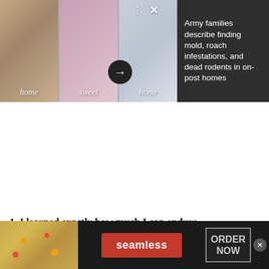[Figure (screenshot): A news article preview card showing three photo columns with 'home sweet home' text overlays in the left portion, with close and dots control icons, a black circle arrow button, and a dark panel on the right showing headline text: 'Army families describe finding mold, roach infestations, and dead rodents in on-post homes']
1. I learned exactly how much I can endure.
[Figure (screenshot): Advertisement banner for Seamless food delivery service showing pizza on the left, a red 'seamless' button in the center, and an 'ORDER NOW' box on the right with a close X button]